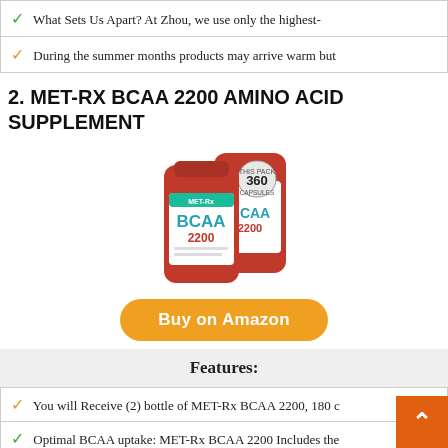✓ What Sets Us Apart? At Zhou, we use only the highest-
✓ During the summer months products may arrive warm but
2. MET-RX BCAA 2200 AMINO ACID SUPPLEMENT
[Figure (photo): Two bottles of MET-Rx BCAA 2200 amino acid supplement, red caps, white labels with teal accent. The larger bottle in back is labeled 360 capsules.]
Buy on Amazon
Features:
✓ You will Receive (2) bottle of MET-Rx BCAA 2200, 180 c
✓ Optimal BCAA uptake: MET-Rx BCAA 2200 Includes the